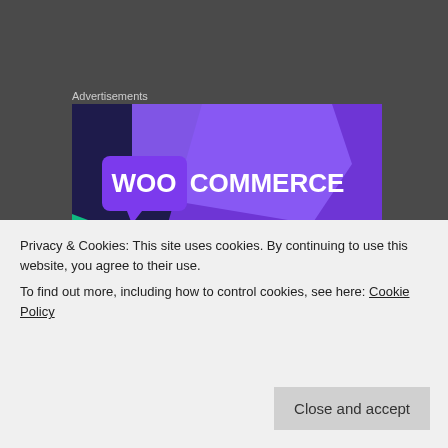Advertisements
[Figure (logo): WooCommerce advertisement banner with purple and dark navy background, teal accent shape, and WooCommerce logo in white text]
There were three words sprawled on it in a
Privacy & Cookies: This site uses cookies. By continuing to use this website, you agree to their use.
To find out more, including how to control cookies, see here: Cookie Policy
Close and accept
plot as of yet, I plan to see where the story takes me. I